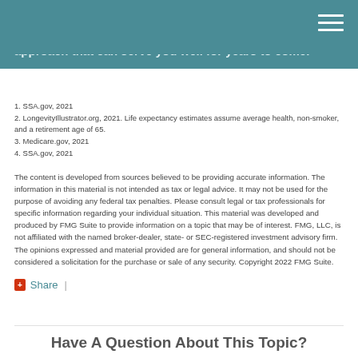approach that can serve you well for years to come.
1. SSA.gov, 2021
2. LongevityIllustrator.org, 2021. Life expectancy estimates assume average health, non-smoker, and a retirement age of 65.
3. Medicare.gov, 2021
4. SSA.gov, 2021
The content is developed from sources believed to be providing accurate information. The information in this material is not intended as tax or legal advice. It may not be used for the purpose of avoiding any federal tax penalties. Please consult legal or tax professionals for specific information regarding your individual situation. This material was developed and produced by FMG Suite to provide information on a topic that may be of interest. FMG, LLC, is not affiliated with the named broker-dealer, state- or SEC-registered investment advisory firm. The opinions expressed and material provided are for general information, and should not be considered a solicitation for the purchase or sale of any security. Copyright 2022 FMG Suite.
Share |
Have A Question About This Topic?